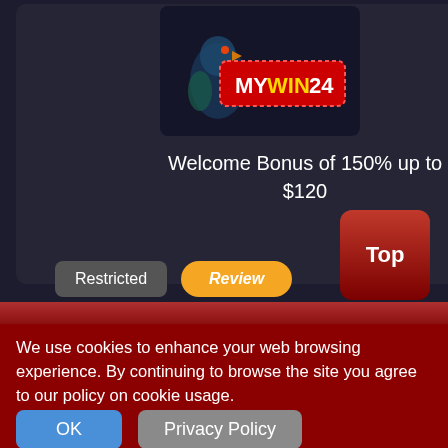[Figure (screenshot): MyWin24 casino logo with parrot mascot on dark background]
Welcome Bonus of 150% up to $120
Restricted
Review
Top
We use cookies to enhance your web browsing experience. By continuing to browse the site you agree to our policy on cookie usage.
OK
Privacy Policy